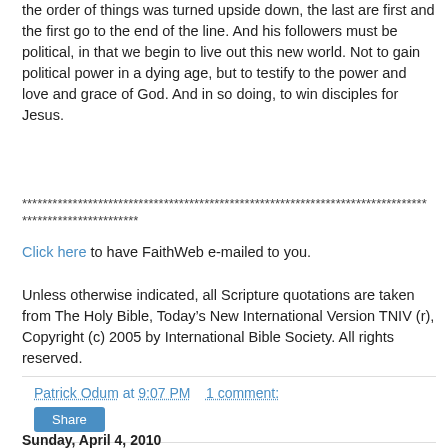the order of things was turned upside down, the last are first and the first go to the end of the line. And his followers must be political, in that we begin to live out this new world. Not to gain political power in a dying age, but to testify to the power and love and grace of God. And in so doing, to win disciples for Jesus.
********************************************************************************
***********************
Click here to have FaithWeb e-mailed to you.
Unless otherwise indicated, all Scripture quotations are taken from The Holy Bible, Today’s New International Version TNIV (r), Copyright (c) 2005 by International Bible Society. All rights reserved.
Patrick Odum at 9:07 PM    1 comment:
Share
Sunday, April 4, 2010